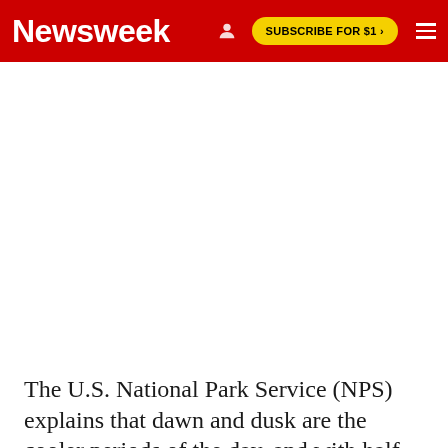Newsweek | SUBSCRIBE FOR $1 >
[Figure (photo): Large image area, appears blank/white in this view — likely an article photo not loaded]
The U.S. National Park Service (NPS) explains that dawn and dusk are the cooler periods of the day, and with half-light, have been observed with